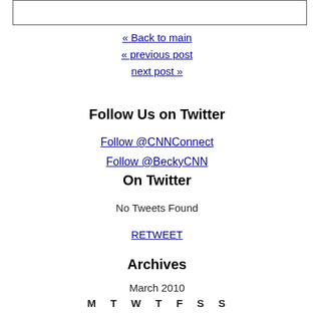[Figure (other): Empty bordered box at top of page]
« Back to main
« previous post
next post »
Follow Us on Twitter
Follow @CNNConnect
Follow @BeckyCNN
On Twitter
No Tweets Found
RETWEET
Archives
March 2010
M  T  W  T  F  S  S